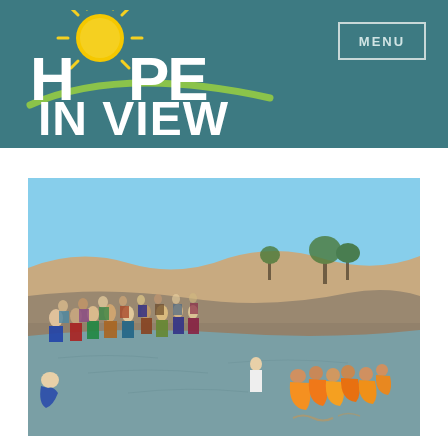[Figure (logo): Hope In View logo with sun graphic on teal background header]
MENU
[Figure (photo): Large group of people gathered at a river. Many people standing on the bank watching, while several women in bright orange/yellow saris are wading in the water. Arid landscape with sparse trees and rocky terrain in the background under a clear blue sky. Appears to be a baptism or religious water ceremony in Africa or South Asia.]